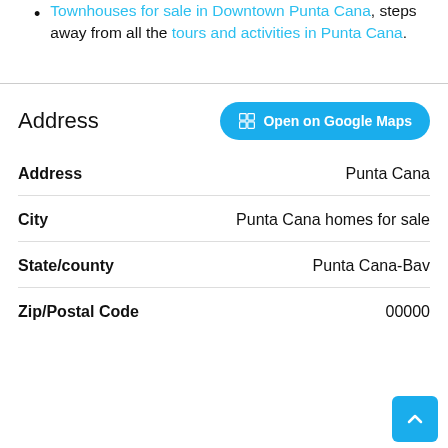Se Vende apartamento en Cap Cana
Townhouses for sale in Downtown Punta Cana, steps away from all the tours and activities in Punta Cana.
Address
| Field | Value |
| --- | --- |
| Address | Punta Cana |
| City | Punta Cana homes for sale |
| State/county | Punta Cana-Bav... |
| Zip/Postal Code | 00000 |